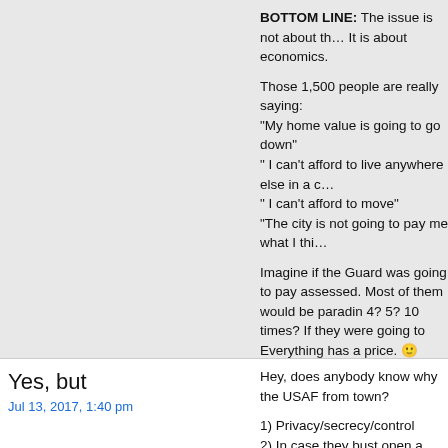BOTTOM LINE: The issue is not about th… It is about economics.
Those 1,500 people are really saying: "My home value is going to go down" " I can't afford to live anywhere else in a c… " I can't afford to move" "The city is not going to pay me what I thi…
Imagine if the Guard was going to pay assessed. Most of them would be paradin 4? 5? 10 times? If they were going to Everything has a price. 🙂
Look at the above photo of the meeting. A Detail the demographics of those 1,500 a is just window dressing.
Yes, but
Jul 13, 2017, 1:40 pm
Hey, does anybody know why the USAF from town?
1) Privacy/secrecy/control
2) In case they bust open a nuke in an ac…
3) Noise
#3 is still of concern these days with a n concern at Gowen? Because they can. B